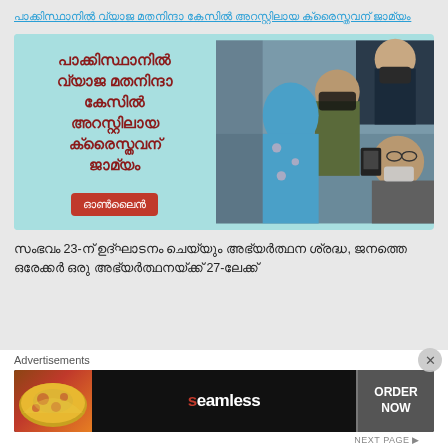പാക്കിസ്ഥാനിൽ വ്യാജ മതനിന്ദാ കേസിൽ അറസ്റ്റിലായ ക്രൈസ്തവന് ജാമ്യം
[Figure (photo): News article image showing Pakistani Christian bail case - split image with Malayalam text headline on left blue background and photo of people on right]
സംഭവം 23-ന് ഉദ്ഘാടനം ചെയ്യും അഭ്യർത്ഥന ശ്രദ്ധ, ജനത്തെ ഒരേക്കർ ഒരു അഭ്യർത്ഥനയ്ക്ക് 27-ലേക്ക്
Advertisements
[Figure (photo): Seamless food delivery advertisement banner with pizza image on left, Seamless logo in center, and ORDER NOW button on right]